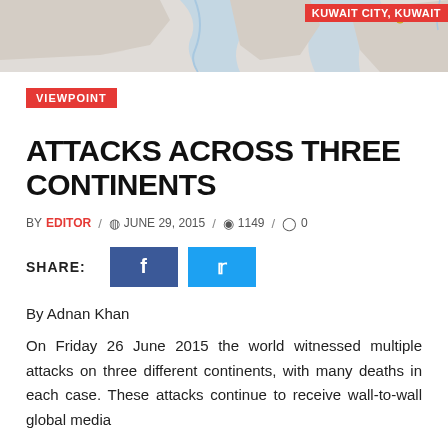[Figure (map): Partial map strip showing Middle East region with Kuwait City, Kuwait label in red]
VIEWPOINT
ATTACKS ACROSS THREE CONTINENTS
BY EDITOR / JUNE 29, 2015 / 1149 / 0
SHARE: [Facebook button] [Twitter button]
By Adnan Khan
On Friday 26 June 2015 the world witnessed multiple attacks on three different continents, with many deaths in each case. These attacks continue to receive wall-to-wall global media